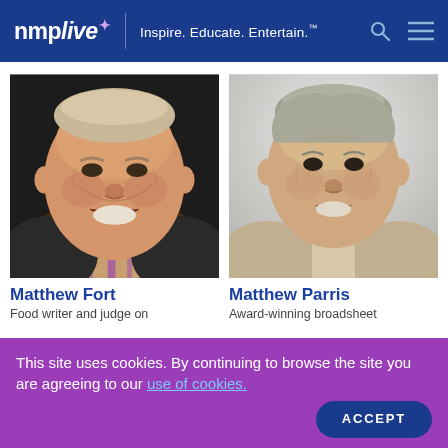nmp live — Inspire. Educate. Entertain.
[Figure (photo): Headshot of Matthew Fort, older smiling man against dark background]
Matthew Fort
Food writer and judge on
[Figure (photo): Headshot of Matthew Parris, older man with grey hair against light background]
Matthew Parris
Award-winning broadsheet
This site uses cookies. By continuing to browse the site you are agreeing to our use of cookies.